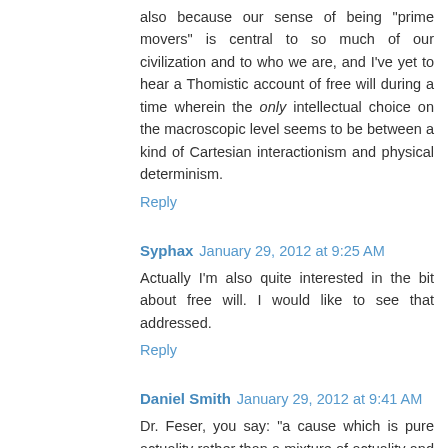also because our sense of being "prime movers" is central to so much of our civilization and to who we are, and I've yet to hear a Thomistic account of free will during a time wherein the only intellectual choice on the macroscopic level seems to be between a kind of Cartesian interactionism and physical determinism.
Reply
Syphax  January 29, 2012 at 9:25 AM
Actually I'm also quite interested in the bit about free will. I would like to see that addressed.
Reply
Daniel Smith  January 29, 2012 at 9:41 AM
Dr. Feser, you say: "a cause which is pure actuality rather than a mixture of actuality and potency -- something that can actualize everything else without itself having to be actualized, because it "already" is purely actual."